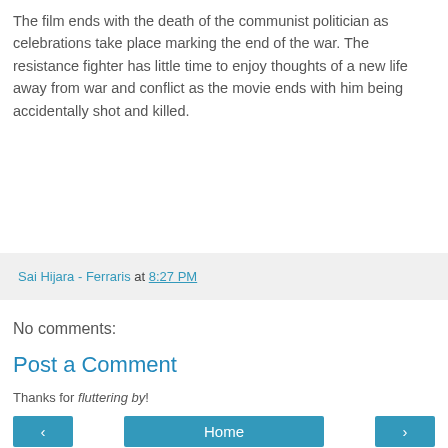The film ends with the death of the communist politician as celebrations take place marking the end of the war. The resistance fighter has little time to enjoy thoughts of a new life away from war and conflict as the movie ends with him being accidentally shot and killed.
Sai Hijara - Ferraris at 8:27 PM
No comments:
Post a Comment
Thanks for fluttering by!
‹  Home  ›
View web version
About Me
Sai Hijara - Ferraris